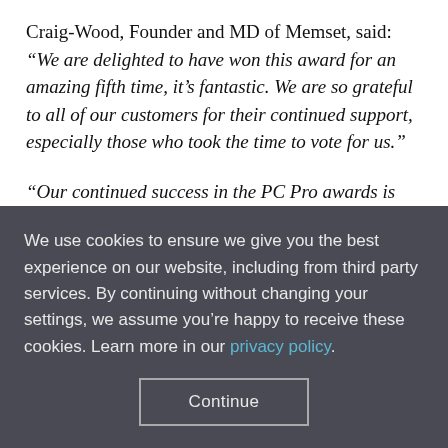Craig-Wood, Founder and MD of Memset, said: “We are delighted to have won this award for an amazing fifth time, it’s fantastic. We are so grateful to all of our customers for their continued support, especially those who took the time to vote for us.”
“Our continued success in the PC Pro awards is down to the Memset crew, for their unwavering dedication and hard work over the last 5...
We use cookies to ensure we give you the best experience on our website, including from third party services. By continuing without changing your settings, we assume you’re happy to receive these cookies. Learn more in our privacy policy.